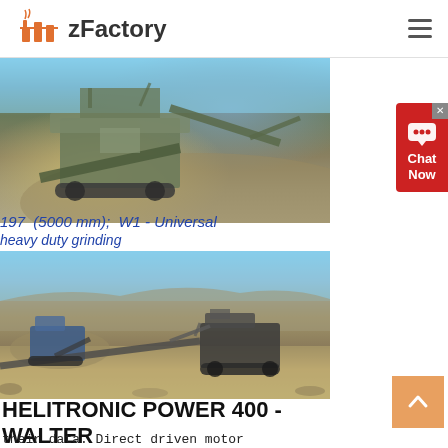zFactory
[Figure (photo): Large industrial mobile crushing/screening machine on a rocky hillside with blue sky background]
197 (5000 mm); W1 - Universal
heavy duty grinding
[Figure (photo): Mobile crushing and screening equipment on an open-pit mining site with gravel piles and blue sky]
HELITRONIC POWER 400 - WALTER
their data. Direct driven motor